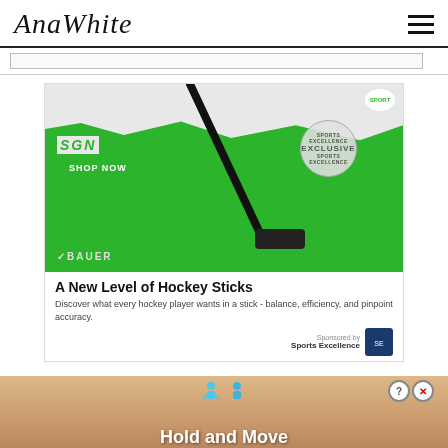AnaWhite
[Figure (illustration): Hockey stick advertisement banner. Green background with white torn paper effect. Shows a Bauer hockey stick, SGN logo, SHOP NOW button, EXCLUSIVE badge, Sports Excellence logo. Ad copy: 'A New Level of Hockey Sticks. Discover what every hockey player wants in a stick - balance, efficiency, and pinpoint accuracy.' Sponsored by Sports Excellence.]
PROJECT TYPE
[Figure (illustration): Bottom advertisement banner showing 'Hold and Move' text with cartoon figures on a wood-textured background.]